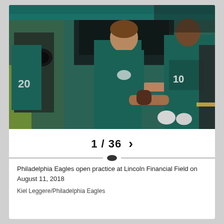[Figure (photo): Philadelphia Eagles players in teal jerseys interacting with a young fan/child at Lincoln Financial Field. A photographer is visible on the left, and the players are emerging from a tunnel. The scene shows a young boy in an Eagles jersey reaching out toward a player.]
1 / 36  >
Philadelphia Eagles open practice at Lincoln Financial Field on August 11, 2018
Kiel Leggere/Philadelphia Eagles